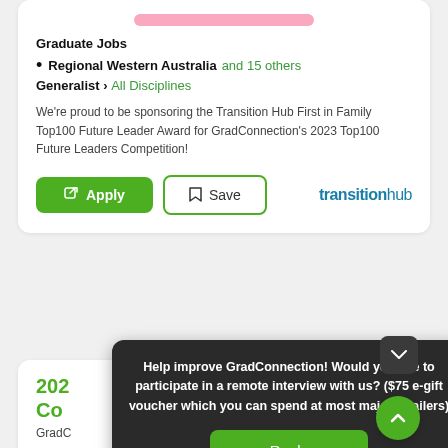Graduate Jobs
Regional Western Australia and 15 others
Generalist › All Disciplines
We're proud to be sponsoring the Transition Hub First in Family Top100 Future Leader Award for GradConnection's 2023 Top100 Future Leaders Competition!
[Figure (screenshot): Apply button (green filled) and Save button (white with green border) and transitionhub logo]
202... Competition... GradC...
Help improve GradConnection! Would you like to participate in a remote interview with us? ($75 e-gift voucher which you can spend at most major retailers)
Reply